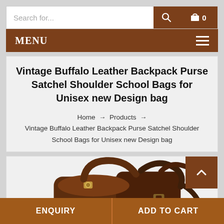Search for...
MENU
Vintage Buffalo Leather Backpack Purse Satchel Shoulder School Bags for Unisex new Design bag
Home → Products → Vintage Buffalo Leather Backpack Purse Satchel Shoulder School Bags for Unisex new Design bag
[Figure (photo): Partial view of a dark brown vintage buffalo leather backpack/satchel bag showing top handles, buckle closures, and bag strap.]
ENQUIRY
ADD TO CART